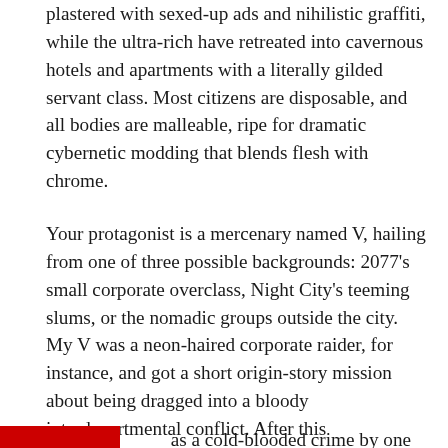plastered with sexed-up ads and nihilistic graffiti, while the ultra-rich have retreated into cavernous hotels and apartments with a literally gilded servant class. Most citizens are disposable, and all bodies are malleable, ripe for dramatic cybernetic modding that blends flesh with chrome.
Your protagonist is a mercenary named V, hailing from one of three possible backgrounds: 2077's small corporate overclass, Night City's teeming slums, or the nomadic groups outside the city. My V was a neon-haired corporate raider, for instance, and got a short origin-story mission about being dragged into a bloody interdepartmental conflict. After this introduction, V becomes one of countless freelancers drifting through Night City's demimonde. Then they join a heist arranged by a flinty femme fatale, and naturally, the job falls apart.
as a cold-blooded crime by one of Night City's